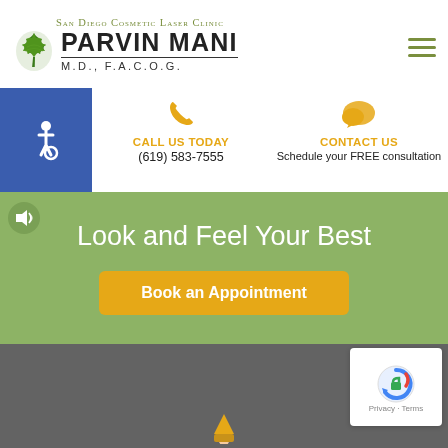[Figure (logo): San Diego Cosmetic Laser Clinic logo with maple leaf and doctor name Parvin Mani M.D., F.A.C.O.G.]
[Figure (infographic): Contact bar with accessibility icon, phone call button 'CALL US TODAY (619) 583-7555', and chat icon 'CONTACT US - Schedule your FREE consultation']
CALL US TODAY
(619) 583-7555
CONTACT US
Schedule your FREE consultation
Look and Feel Your Best
Book an Appointment
[Figure (screenshot): reCAPTCHA badge showing Privacy and Terms]